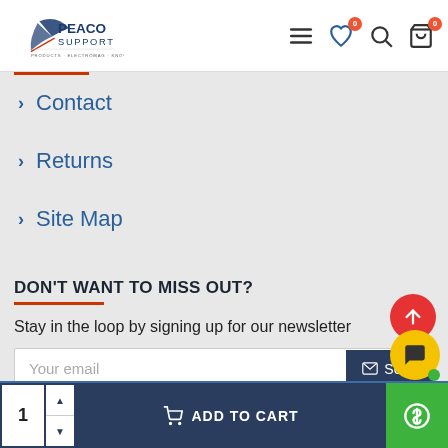Peaco Support — header with logo, hamburger menu, wishlist (0), search, cart (0)
> Contact
> Returns
> Site Map
DON'T WANT TO MISS OUT?
Stay in the loop by signing up for our newsletter
Your email [input] Send
I have read and agree to the Privacy Policy
1 [qty] ADD TO CART [$]